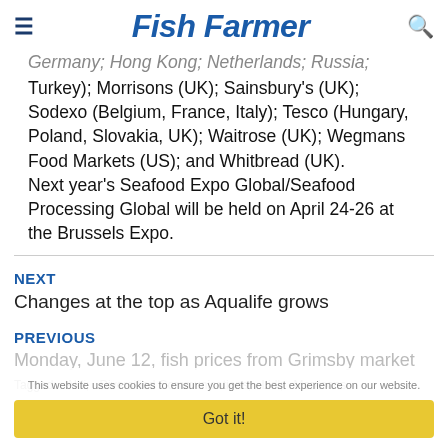Fish Farmer
Germany; Hong Kong; Netherlands; Russia; Turkey); Morrisons (UK); Sainsbury's (UK); Sodexo (Belgium, France, Italy); Tesco (Hungary, Poland, Slovakia, UK); Waitrose (UK); Wegmans Food Markets (US); and Whitbread (UK). Next year's Seafood Expo Global/Seafood Processing Global will be held on April 24-26 at the Brussels Expo.
NEXT
Changes at the top as Aqualife grows
PREVIOUS
Monday, June 12, fish prices from Grimsby market
This website uses cookies to ensure you get the best experience on our website.
Got it!
Tagged: Aldi; Diversified Communications; Lidl; Morrisons